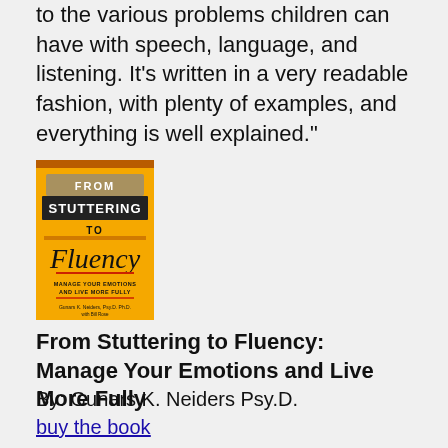to the various problems children can have with speech, language, and listening. It's written in a very readable fashion, with plenty of examples, and everything is well explained."
[Figure (illustration): Book cover: 'From Stuttering To Fluency: Manage Your Emotions and Live More Fully' by Gunars K. Neiders Psy.D. — orange background with bold title text and script font for 'Fluency']
From Stuttering to Fluency: Manage Your Emotions and Live More Fully
By: Gunars K. Neiders Psy.D.
buy the book
Reader Comment: "Dr. Neiders contribution is fundamental in understanding how cognitive and